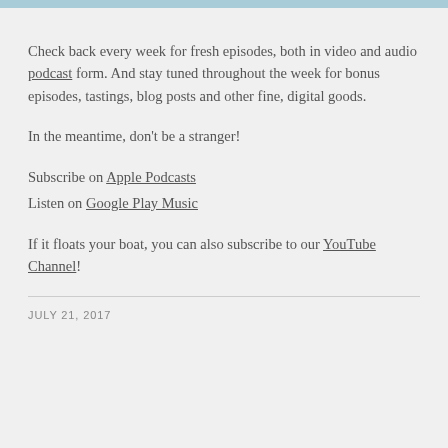Check back every week for fresh episodes, both in video and audio podcast form. And stay tuned throughout the week for bonus episodes, tastings, blog posts and other fine, digital goods.
In the meantime, don't be a stranger!
Subscribe on Apple Podcasts
Listen on Google Play Music
If it floats your boat, you can also subscribe to our YouTube Channel!
JULY 21, 2017